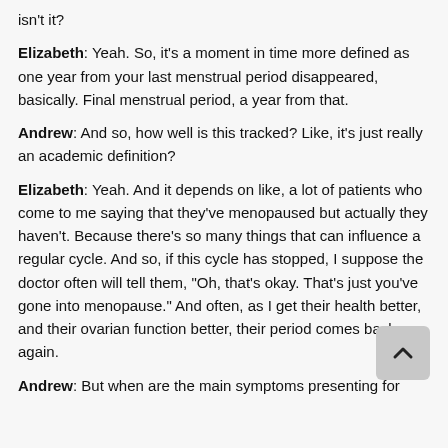isn't it?
Elizabeth: Yeah. So, it's a moment in time more defined as one year from your last menstrual period disappeared, basically. Final menstrual period, a year from that.
Andrew: And so, how well is this tracked? Like, it's just really an academic definition?
Elizabeth: Yeah. And it depends on like, a lot of patients who come to me saying that they've menopaused but actually they haven't. Because there's so many things that can influence a regular cycle. And so, if this cycle has stopped, I suppose the doctor often will tell them, "Oh, that's okay. That's just you've gone into menopause." And often, as I get their health better, and their ovarian function better, their period comes back again.
Andrew: But when are the main symptoms presenting for